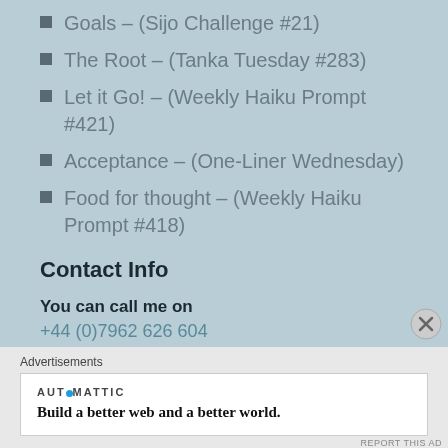Goals – (Sijo Challenge #21)
The Root – (Tanka Tuesday #283)
Let it Go! – (Weekly Haiku Prompt #421)
Acceptance – (One-Liner Wednesday)
Food for thought – (Weekly Haiku Prompt #418)
Contact Info
You can call me on
+44 (0)7962 626 604
Email Me at Laura@TheHiddenEdge.co.uk
Or use the Social Links at the TOP
Advertisements
AUTOMATTIC
Build a better web and a better world.